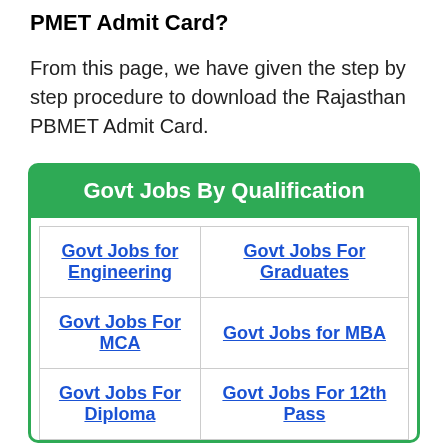PMET Admit Card?
From this page, we have given the step by step procedure to download the Rajasthan PBMET Admit Card.
| Col1 | Col2 |
| --- | --- |
| Govt Jobs for Engineering | Govt Jobs For Graduates |
| Govt Jobs For MCA | Govt Jobs for MBA |
| Govt Jobs For Diploma | Govt Jobs For 12th Pass |